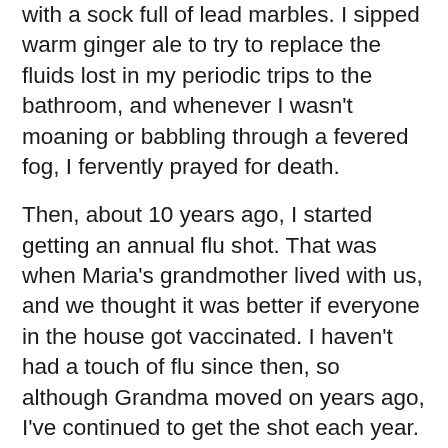with a sock full of lead marbles. I sipped warm ginger ale to try to replace the fluids lost in my periodic trips to the bathroom, and whenever I wasn't moaning or babbling through a fevered fog, I fervently prayed for death.
Then, about 10 years ago, I started getting an annual flu shot. That was when Maria's grandmother lived with us, and we thought it was better if everyone in the house got vaccinated. I haven't had a touch of flu since then, so although Grandma moved on years ago, I've continued to get the shot each year.
“I need that, right?” I suggested, nodding at the sign, expecting an enthusiastic, “Yes.”
“Why?” he smiled, peering at me over his reading glasses. “You’re not elderly, your immune system isn’t compromised, and you don’t have any chronic respiratory